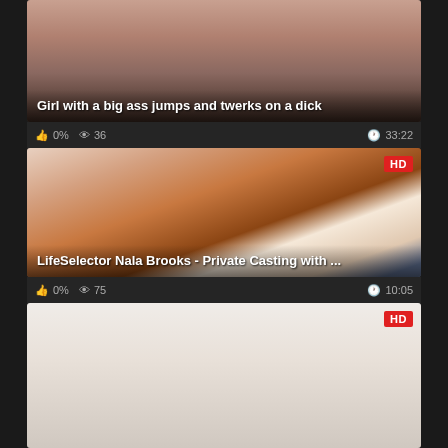[Figure (screenshot): Video thumbnail for 'Girl with a big ass jumps and twerks on a dick']
Girl with a big ass jumps and twerks on a dick
0% | 36 views | 33:22
[Figure (screenshot): Video thumbnail for 'LifeSelector Nala Brooks - Private Casting with ...' with HD badge]
LifeSelector Nala Brooks - Private Casting with ...
0% | 75 views | 10:05
[Figure (screenshot): Video thumbnail (partial, bottom of page) with HD badge]